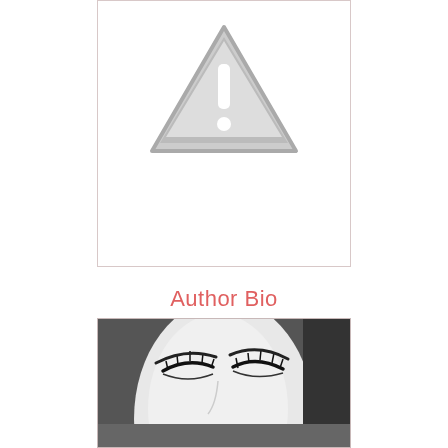[Figure (illustration): A gray warning/caution triangle icon with exclamation mark on white background, inside a light-bordered rectangular box]
Author Bio
[Figure (photo): Black and white close-up photograph of a woman with closed eyes and long eyelashes, cropped at face level]